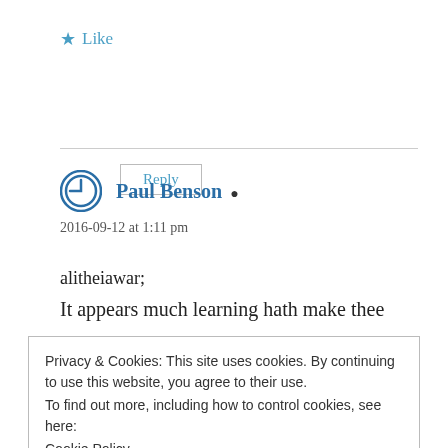★ Like
Reply
Paul Benson
2016-09-12 at 1:11 pm
alitheiawar;
It appears much learning hath make thee
Privacy & Cookies: This site uses cookies. By continuing to use this website, you agree to their use.
To find out more, including how to control cookies, see here:
Cookie Policy
Close and accept
Are you for real? The post-trib view IS the